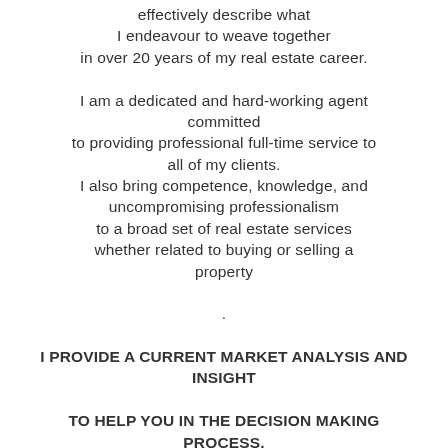effectively describe what I endeavour to weave together in over 20 years of my real estate career.

I am a dedicated and hard-working agent committed to providing professional full-time service to all of my clients. I also bring competence, knowledge, and uncompromising professionalism to a broad set of real estate services whether related to buying or selling a property

.
I PROVIDE A CURRENT MARKET ANALYSIS AND INSIGHT

TO HELP YOU IN THE DECISION MAKING PROCESS.